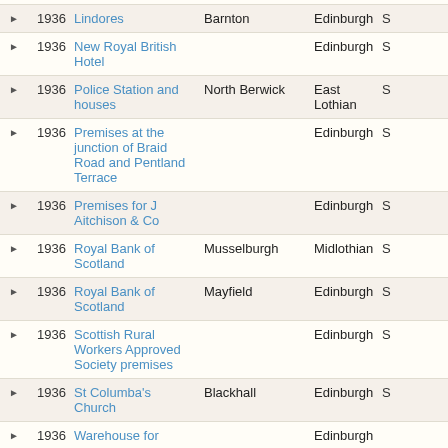|  | Year | Name | Location | Area | Status |
| --- | --- | --- | --- | --- | --- |
| ▶ | 1936 | Lindores | Barnton | Edinburgh | S… |
| ▶ | 1936 | New Royal British Hotel |  | Edinburgh | S… |
| ▶ | 1936 | Police Station and houses | North Berwick | East Lothian | S… |
| ▶ | 1936 | Premises at the junction of Braid Road and Pentland Terrace |  | Edinburgh | S… |
| ▶ | 1936 | Premises for J Aitchison & Co |  | Edinburgh | S… |
| ▶ | 1936 | Royal Bank of Scotland | Musselburgh | Midlothian | S… |
| ▶ | 1936 | Royal Bank of Scotland | Mayfield | Edinburgh | S… |
| ▶ | 1936 | Scottish Rural Workers Approved Society premises |  | Edinburgh | S… |
| ▶ | 1936 | St Columba's Church | Blackhall | Edinburgh | S… |
| ▶ | 1936 | Warehouse for… |  | Edinburgh | … |